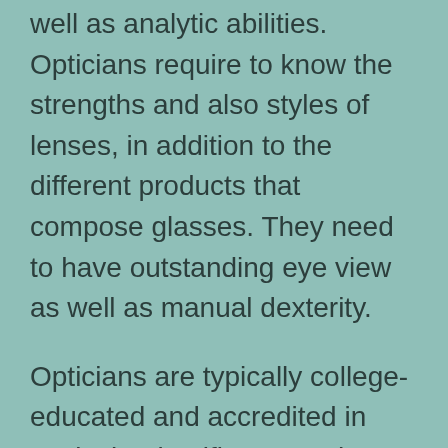well as analytic abilities. Opticians require to know the strengths and also styles of lenses, in addition to the different products that compose glasses. They need to have outstanding eye view as well as manual dexterity.
Opticians are typically college-educated and accredited in Optical Scientific research. They must meet stringent standards and maintain a permit to practice, and they are held accountable by professional managing bodies. Lens can also be in the armed forces, working as eye treatment professionals for active-duty members and their dependents. A physician's